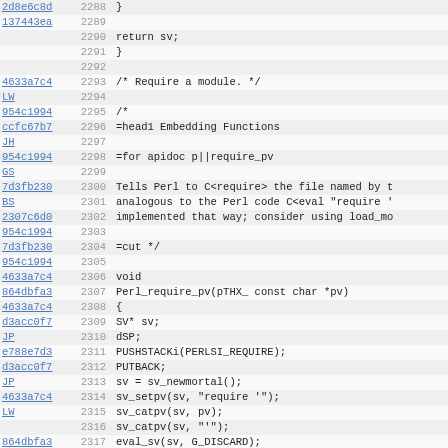Source code blame view with commit hashes, line numbers, and C/Perl code lines 2288-2319